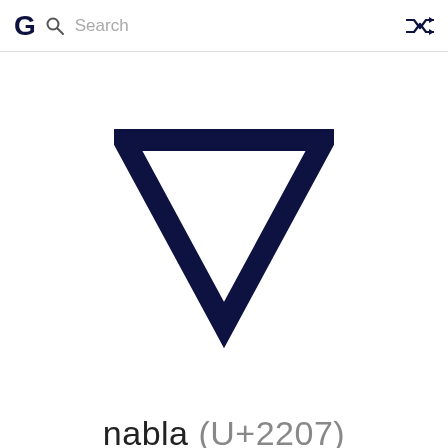G  Search
[Figure (illustration): Nabla mathematical symbol (∇) — a downward-pointing open triangle outline in dark navy color]
nabla (U+2207)
[Figure (illustration): Blue/purple heart icon]